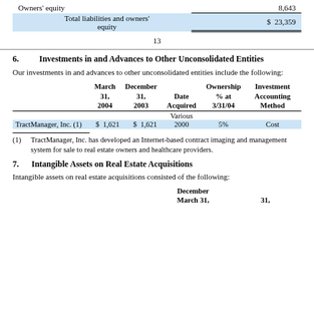|  |  |
| --- | --- |
| Owners' equity | 8,643 |
| Total liabilities and owners' equity | $ 23,359 |
13
6.    Investments in and Advances to Other Unconsolidated Entities
Our investments in and advances to other unconsolidated entities include the following:
|  | March 31, 2004 | December 31, 2003 | Date Acquired | Ownership % at 3/31/04 | Investment Accounting Method |
| --- | --- | --- | --- | --- | --- |
|  |  |  | Various |  |  |
| TractManager, Inc. (1) | $ 1,621 | $ 1,621 | 2000 | 5% | Cost |
(1) TractManager, Inc. has developed an Internet-based contract imaging and management system for sale to real estate owners and healthcare providers.
7.    Intangible Assets on Real Estate Acquisitions
Intangible assets on real estate acquisitions consisted of the following:
|  | March 31, | December 31, |
| --- | --- | --- |